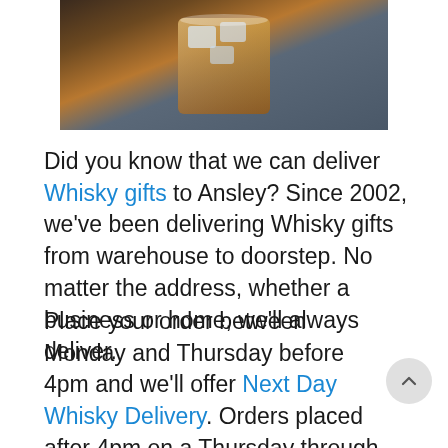[Figure (photo): A glass of whisky with ice on a dark surface]
Did you know that we can deliver Whisky gifts to Ansley? Since 2002, we've been delivering Whisky gifts from warehouse to doorstep. No matter the address, whether a business or home, we'll always deliver.
Place your order between Monday and Thursday before 4pm and we'll offer Next Day Whisky Delivery. Orders placed after 4pm on a Thursday through to 4pm the following Monday will be delivered on a Tuesday and...